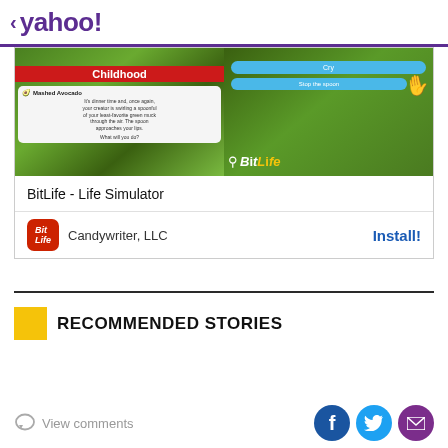< yahoo!
[Figure (screenshot): BitLife - Life Simulator app advertisement showing childhood game screenshot with 'Mashed Avocado' scenario and BitLife logo]
BitLife - Life Simulator
Candywriter, LLC
Install!
RECOMMENDED STORIES
View comments